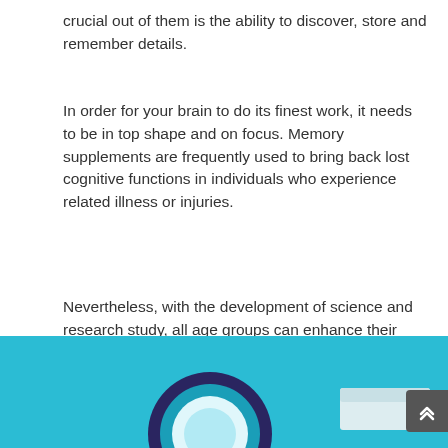crucial out of them is the ability to discover, store and remember details.
In order for your brain to do its finest work, it needs to be in top shape and on focus. Memory supplements are frequently used to bring back lost cognitive functions in individuals who experience related illness or injuries.
Nevertheless, with the development of science and research study, all age groups can enhance their performance with tested stimulants.
[Figure (illustration): Teal/cyan background illustration showing a magnifying glass with dark circular frame on the left, and a white rectangular element on the right, partially visible at the bottom of the page.]